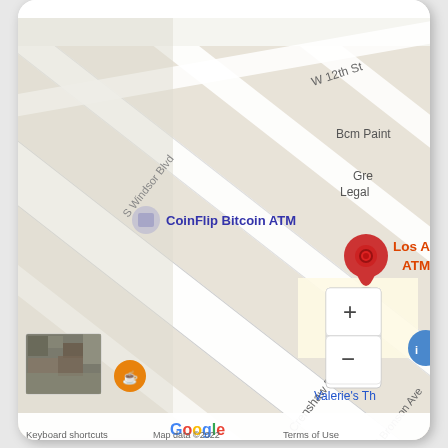[Figure (map): Google Maps screenshot showing Los Angeles area with a red pin marker labeled 'Los Angeles Bitcoin ATM - Coinhub', a blue label for 'CoinFlip Bitcoin ATM', streets including W 12th St, S Windsor Blvd, Crenshaw Blvd, S Bronson Ave, 12th Ave, 6th Ave, business labels Bcm Paint, Gre Legal, Jeju restaurant with orange pin, Valerie's Th partially visible, Google logo, zoom controls (+/-), keyboard shortcuts and map data copyright 2022 notice, and a satellite thumbnail in bottom left.]